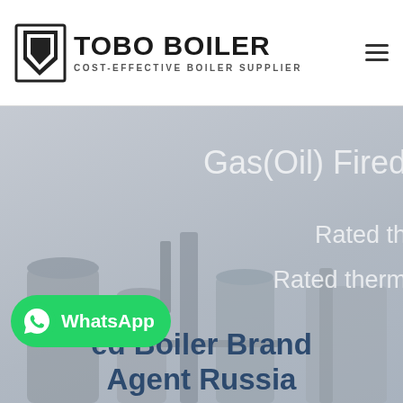TOBO BOILER — COST-EFFECTIVE BOILER SUPPLIER
[Figure (screenshot): Tobo Boiler logo with icon on the left and company name and tagline on the right]
[Figure (photo): Hero banner with industrial boiler equipment in the background, grey overlay, and partial text reading 'Gas(Oil) Fired', 'Rated th...', 'Rated them...' partially cut off on right side. Bottom overlay text reads 'ed Boiler Brand Agent Russia'. WhatsApp button on the lower left.]
Gas(Oil) Fired
Rated th
Rated them
ed Boiler Brand Agent Russia